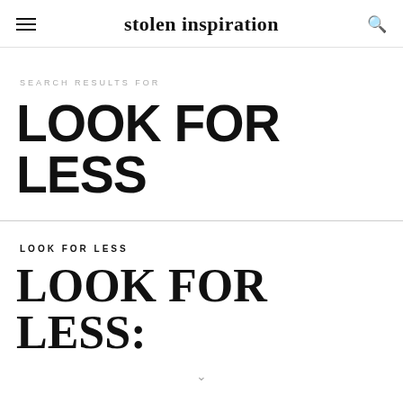stolen inspiration
SEARCH RESULTS FOR
LOOK FOR LESS
LOOK FOR LESS
LOOK FOR LESS: